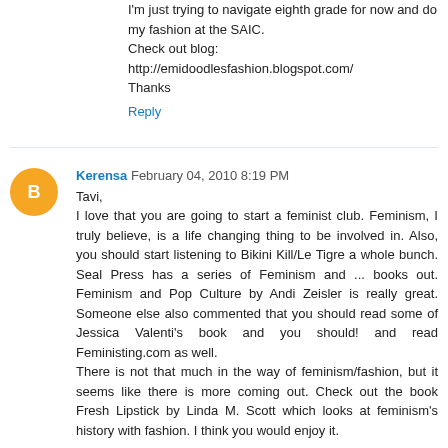I'm just trying to navigate eighth grade for now and do my fashion at the SAIC.
Check out blog:
http://emidoodlesfashion.blogspot.com/
Thanks
Reply
Kerensa  February 04, 2010 8:19 PM
Tavi,
I love that you are going to start a feminist club. Feminism, I truly believe, is a life changing thing to be involved in. Also, you should start listening to Bikini Kill/Le Tigre a whole bunch. Seal Press has a series of Feminism and ... books out. Feminism and Pop Culture by Andi Zeisler is really great. Someone else also commented that you should read some of Jessica Valenti's book and you should! and read Feministing.com as well.
There is not that much in the way of feminism/fashion, but it seems like there is more coming out. Check out the book Fresh Lipstick by Linda M. Scott which looks at feminism's history with fashion. I think you would enjoy it.